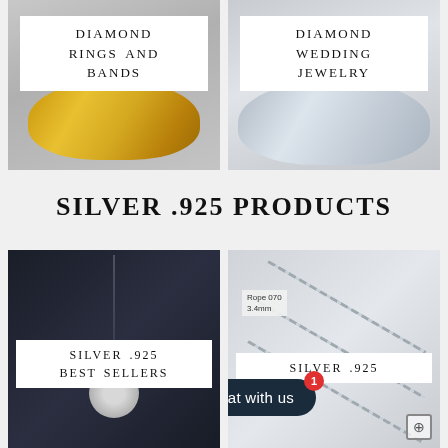[Figure (photo): Diamond ring with gold band and pave diamond setting]
DIAMOND RINGS AND BANDS
[Figure (photo): Diamond wedding ring with silver/white gold band]
DIAMOND WEDDING JEWELRY
SILVER .925 PRODUCTS
[Figure (photo): Silver .925 pendant necklace on dark background]
SILVER .925 BEST SELLERS
[Figure (photo): Silver .925 rope chain 070 3.4mm]
SILVER .925
Chat with us